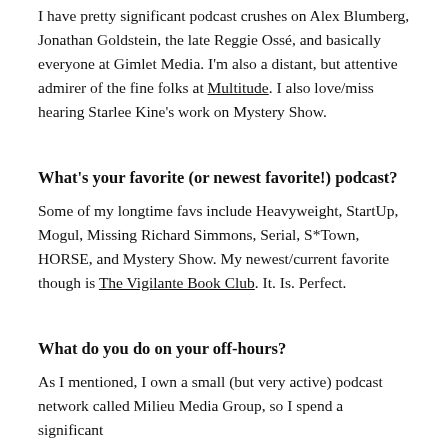I have pretty significant podcast crushes on Alex Blumberg, Jonathan Goldstein, the late Reggie Ossé, and basically everyone at Gimlet Media. I'm also a distant, but attentive admirer of the fine folks at Multitude. I also love/miss hearing Starlee Kine's work on Mystery Show.
What's your favorite (or newest favorite!) podcast?
Some of my longtime favs include Heavyweight, StartUp, Mogul, Missing Richard Simmons, Serial, S*Town, HORSE, and Mystery Show. My newest/current favorite though is The Vigilante Book Club. It. Is. Perfect.
What do you do on your off-hours?
As I mentioned, I own a small (but very active) podcast network called Milieu Media Group, so I spend a significant